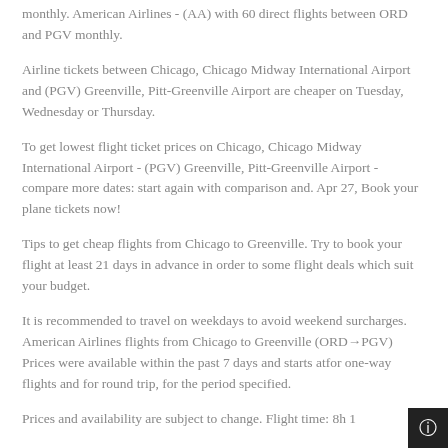monthly. American Airlines - (AA) with 60 direct flights between ORD and PGV monthly.
Airline tickets between Chicago, Chicago Midway International Airport and (PGV) Greenville, Pitt-Greenville Airport are cheaper on Tuesday, Wednesday or Thursday.
To get lowest flight ticket prices on Chicago, Chicago Midway International Airport - (PGV) Greenville, Pitt-Greenville Airport - compare more dates: start again with comparison and. Apr 27, Book your plane tickets now!
Tips to get cheap flights from Chicago to Greenville. Try to book your flight at least 21 days in advance in order to some flight deals which suit your budget.
It is recommended to travel on weekdays to avoid weekend surcharges. American Airlines flights from Chicago to Greenville (ORD→PGV) Prices were available within the past 7 days and starts atfor one-way flights and for round trip, for the period specified.
Prices and availability are subject to change. Flight time: 8h 1…